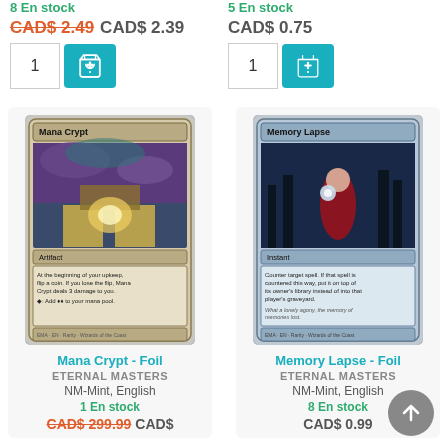8 En stock
CAD$ 2.49  CAD$ 2.39
5 En stock
CAD$ 0.75
[Figure (screenshot): Mana Crypt Magic: The Gathering card image - Eternal Masters foil]
Mana Crypt - Foil
ETERNAL MASTERS
NM-Mint, English
1 En stock
CAD$ 299.99  CAD$
[Figure (screenshot): Memory Lapse Magic: The Gathering card image - Eternal Masters foil]
Memory Lapse - Foil
ETERNAL MASTERS
NM-Mint, English
8 En stock
CAD$ 0.99